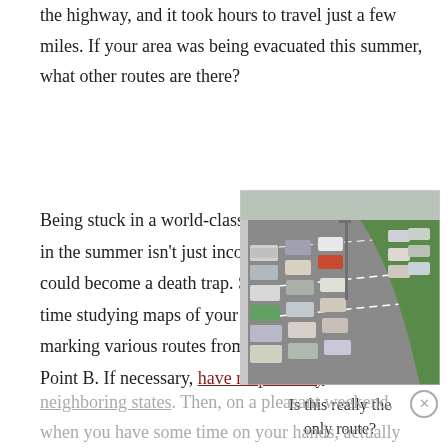the highway, and it took hours to travel just a few miles. If your area was being evacuated this summer, what other routes are there?
Being stuck in a world-class traffic jam in the summer isn't just inconvenient, it could become a death trap. Spend some time studying maps of your area and marking various routes from Point A to Point B. If necessary, have maps of any
[Figure (photo): Aerial view of a congested multilane highway filled with many cars in heavy traffic]
Is this really the only route?
neighboring states. Then, on a pleasant weekend, when you have some time on your hands, actually